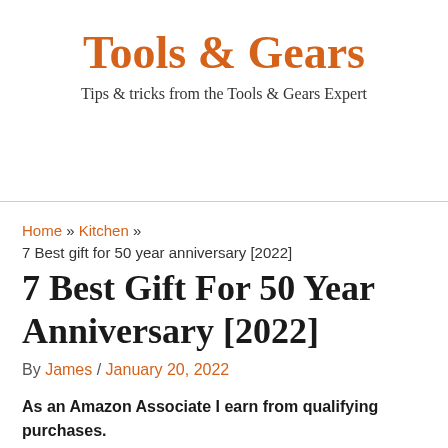Tools & Gears
Tips & tricks from the Tools & Gears Expert
Home » Kitchen » 7 Best gift for 50 year anniversary [2022]
7 Best Gift For 50 Year Anniversary [2022]
By James / January 20, 2022
As an Amazon Associate I earn from qualifying purchases.